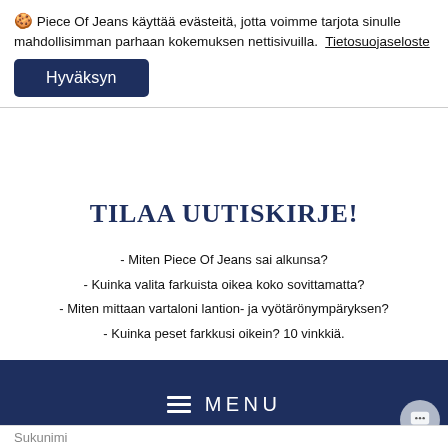🍪 Piece Of Jeans käyttää evästeitä, jotta voimme tarjota sinulle mahdollisimman parhaan kokemuksen nettisivuilla. Tietosuojaseloste
Hyväksyn
TILAA UUTISKIRJE!
- Miten Piece Of Jeans sai alkunsa?
- Kuinka valita farkuista oikea koko sovittamatta?
- Miten mittaan vartaloni lantion- ja vyötärönympäryksen?
- Kuinka peset farkkusi oikein? 10 vinkkiä.
Kaikki nämä ja paljon muuta.Vinkkejä, faktoja, tarinoita ja tarjouksia.
MENU
Sukunimi